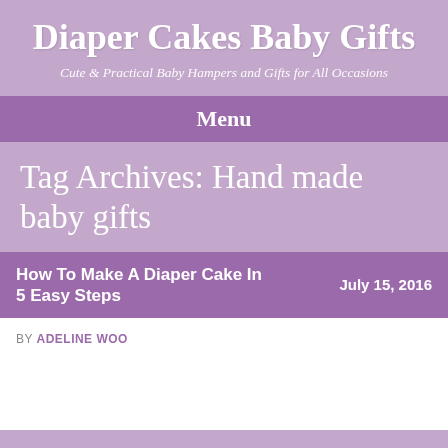Diaper Cakes Baby Gifts
Cute & Practical Baby Hampers and Gifts for All Occasions
Menu
Tag Archives: Hand made baby gifts
How To Make A Diaper Cake In 5 Easy Steps	July 15, 2016
BY ADELINE WOO